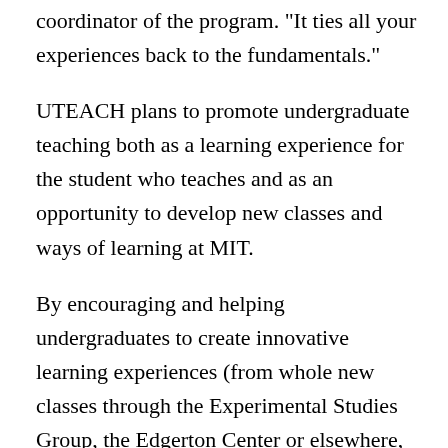coordinator of the program. "It ties all your experiences back to the fundamentals."
UTEACH plans to promote undergraduate teaching both as a learning experience for the student who teaches and as an opportunity to develop new classes and ways of learning at MIT.
By encouraging and helping undergraduates to create innovative learning experiences (from whole new classes through the Experimental Studies Group, the Edgerton Center or elsewhere, to project-based labs to complement the General Institute Requirements, to hands-on IAP activities and so on), UTEACH hopes to support, broaden and enhance the learning experiences that exist outside the traditional